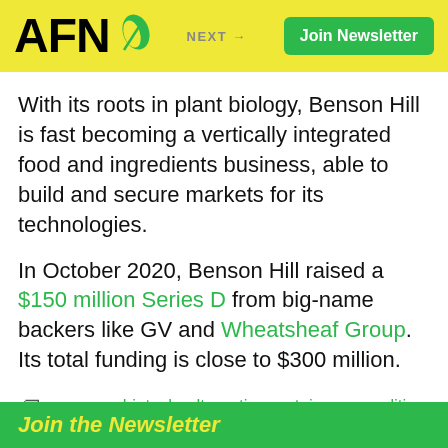AFN — NEXT → Join Newsletter
With its roots in plant biology, Benson Hill is fast becoming a vertically integrated food and ingredients business, able to build and secure markets for its technologies.
In October 2020, Benson Hill raised a $150 million Series D from big-name backers like GV and Wheatsheaf Group. Its total funding is close to $300 million.
ag biotech, alternative protein, gene-editing, plant-based, United States
Join the Newsletter